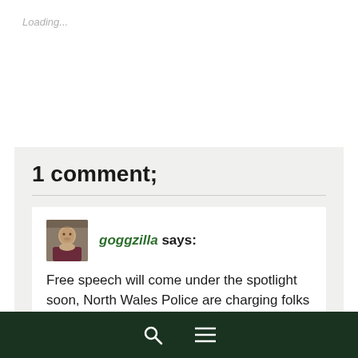Loading...
1 comment;
goggzilla says: Free speech will come under the spotlight soon, North Wales Police are charging folks in the Ched Evans Twitter trial case. As for the EU, just another rich men's club, opt in or out, the UK does as it pleases (still no implementation of Marper
Search and Menu navigation bar